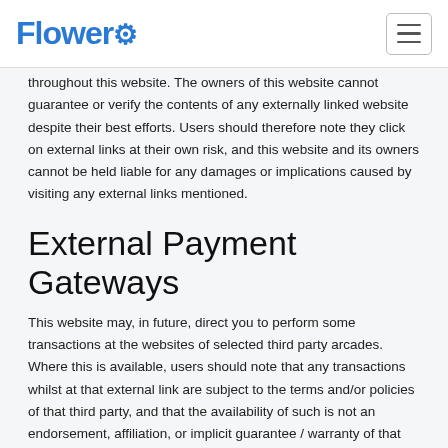Flower
throughout this website. The owners of this website cannot guarantee or verify the contents of any externally linked website despite their best efforts. Users should therefore note they click on external links at their own risk, and this website and its owners cannot be held liable for any damages or implications caused by visiting any external links mentioned.
External Payment Gateways
This website may, in future, direct you to perform some transactions at the websites of selected third party arcades. Where this is available, users should note that any transactions whilst at that external link are subject to the terms and/or policies of that third party, and that the availability of such is not an endorsement, affiliation, or implicit guarantee / warranty of that third party's services. Users should further note that the owners of this website do not, and will never, receive any compensation, financial or otherwise, from any third parties participating in this feature.